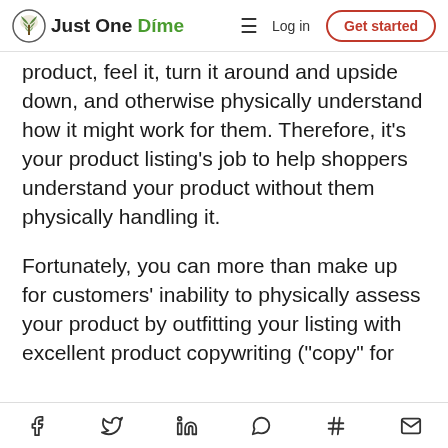Just One Dime | Log in | Get started
product, feel it, turn it around and upside down, and otherwise physically understand how it might work for them. Therefore, it’s your product listing’s job to help shoppers understand your product without them physically handling it.
Fortunately, you can more than make up for customers’ inability to physically assess your product by outfitting your listing with excellent product copywriting (“copy” for
f  ✓  in  ○  #  ✉